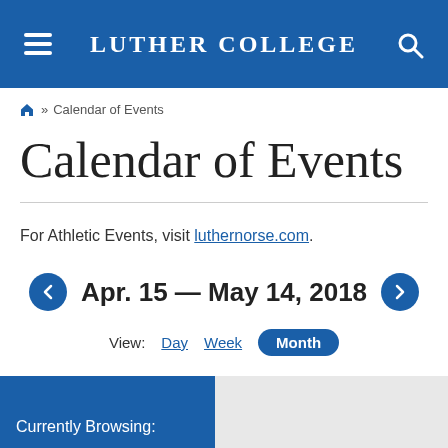Luther College
» Calendar of Events
Calendar of Events
For Athletic Events, visit luthernorse.com.
Apr. 15 — May 14, 2018
View: Day Week Month
Currently Browsing: